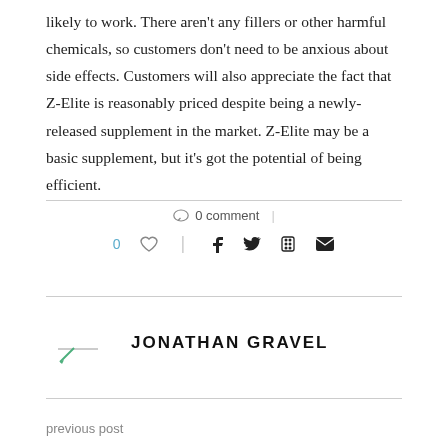likely to work. There aren't any fillers or other harmful chemicals, so customers don't need to be anxious about side effects. Customers will also appreciate the fact that Z-Elite is reasonably priced despite being a newly-released supplement in the market. Z-Elite may be a basic supplement, but it's got the potential of being efficient.
0 comment
0 ♡ | f 𝕏 pinterest mail
JONATHAN GRAVEL
previous post